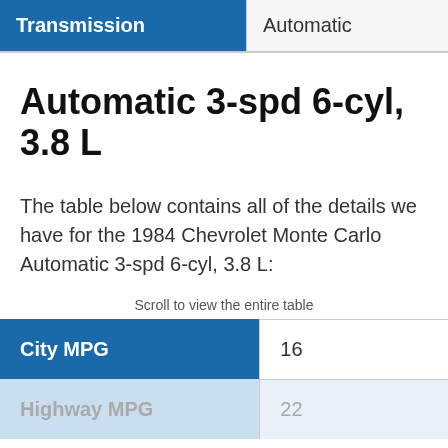| Transmission |  |
| --- | --- |
| Transmission | Automatic |
Automatic 3-spd 6-cyl, 3.8 L
The table below contains all of the details we have for the 1984 Chevrolet Monte Carlo Automatic 3-spd 6-cyl, 3.8 L:
Scroll to view the entire table
|  |  |
| --- | --- |
| City MPG | 16 |
| Highway MPG | 22 |